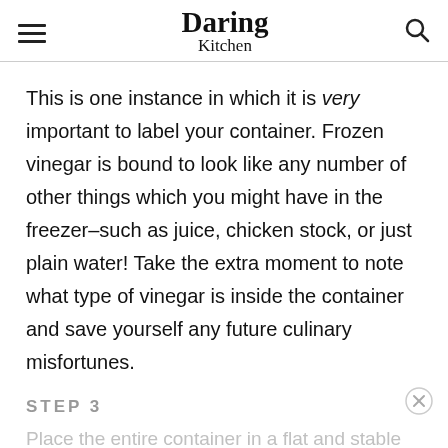Daring Kitchen
This is one instance in which it is very important to label your container. Frozen vinegar is bound to look like any number of other things which you might have in the freezer–such as juice, chicken stock, or just plain water! Take the extra moment to note what type of vinegar is inside the container and save yourself any future culinary misfortunes.
STEP 3
Place the entire container in a flat and stable